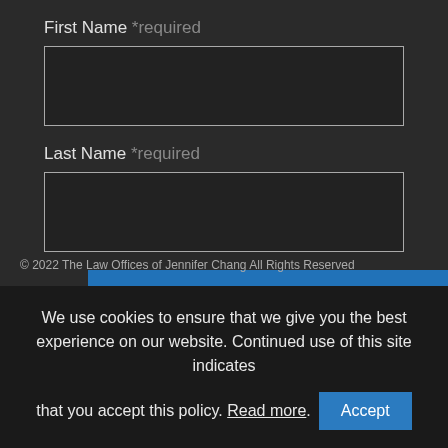First Name *required
[Figure (screenshot): Empty text input field for First Name]
Last Name *required
[Figure (screenshot): Empty text input field for Last Name]
[Figure (screenshot): SUBSCRIBE button in blue]
© 2022 The Law Offices of Jennifer Chang All Rights Reserved
We use cookies to ensure that we give you the best experience on our website. Continued use of this site indicates that you accept this policy. Read more. Accept